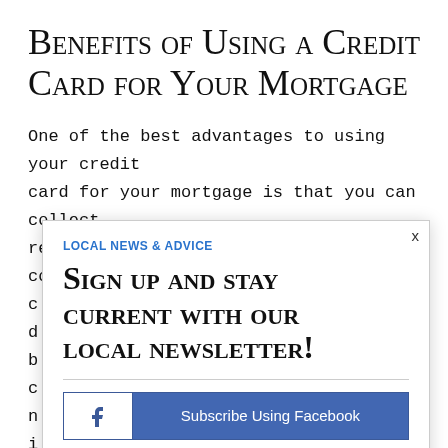Benefits of Using a Credit Card for Your Mortgage
One of the best advantages to using your credit card for your mortgage is that you can collect rewards and bonuses. Many credit card companies c... d... b... c... n... i... k...
LOCAL NEWS & ADVICE
Sign up and stay current with our local newsletter!
Subscribe Using Facebook